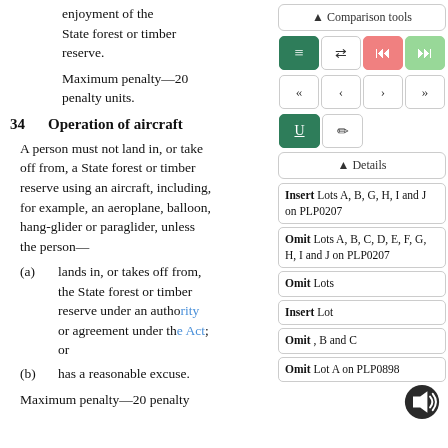enjoyment of the State forest or timber reserve.
Maximum penalty—20 penalty units.
34   Operation of aircraft
A person must not land in, or take off from, a State forest or timber reserve using an aircraft, including, for example, an aeroplane, balloon, hang-glider or paraglider, unless the person—
(a)  lands in, or takes off from, the State forest or timber reserve under an authority or agreement under the Act; or
(b)  has a reasonable excuse.
Maximum penalty—20 penalty
[Figure (screenshot): Comparison tools sidebar with navigation buttons, details panel showing Insert/Omit amendment entries for PLP0207, PLP0898, and an audio speaker icon]